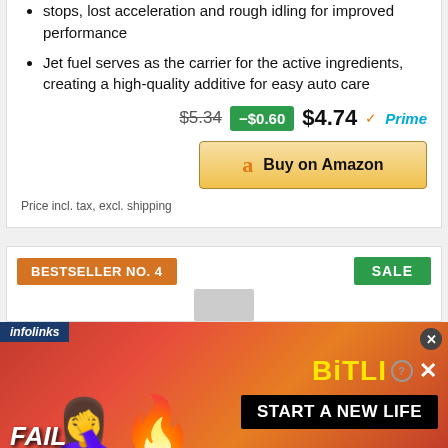stops, lost acceleration and rough idling for improved performance
Jet fuel serves as the carrier for the active ingredients, creating a high-quality additive for easy auto care
$5.34  -$0.60  $4.74 ✓Prime
a Buy on Amazon
Price incl. tax, excl. shipping
BESTSELLER NO. 4
SALE
[Figure (screenshot): Advertisement banner: infolinks bar, red/orange background, FAIL text, facepalm emoji, flame emoji, BitLife logo with question mark and X close button, START A NEW LIFE text on black background]